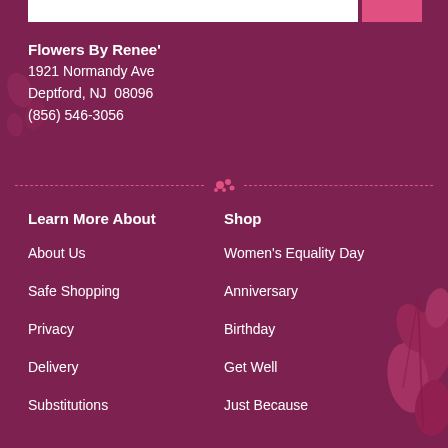Flowers By Renee'
1921 Normandy Ave
Deptford, NJ  08096
(856) 546-3056
Learn More About
Shop
About Us
Women's Equality Day
Safe Shopping
Anniversary
Privacy
Birthday
Delivery
Get Well
Substitutions
Just Because